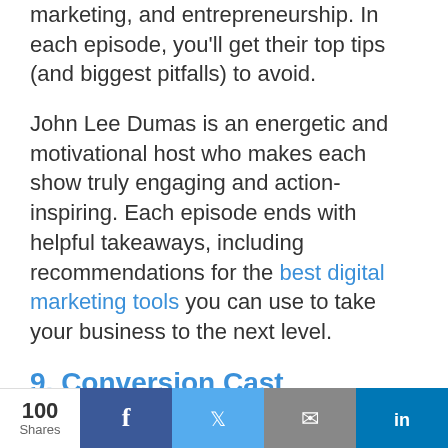marketing, and entrepreneurship. In each episode, you'll get their top tips (and biggest pitfalls) to avoid.
John Lee Dumas is an energetic and motivational host who makes each show truly engaging and action-inspiring. Each episode ends with helpful takeaways, including recommendations for the best digital marketing tools you can use to take your business to the next level.
9. Conversion Cast
Cite iTunes and Apple...